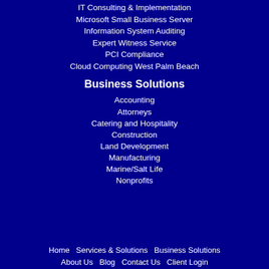IT Consulting & Implementation
Microsoft Small Business Server
Information System Auditing
Expert Witness Service
PCI Compliance
Cloud Computing West Palm Beach
Business Solutions
Accounting
Attorneys
Catering and Hospitality
Construction
Land Development
Manufacturing
Marine/Salt Life
Nonprofits
Home   Services & Solutions   Business Solutions
About Us   Blog   Contact Us   Client Login